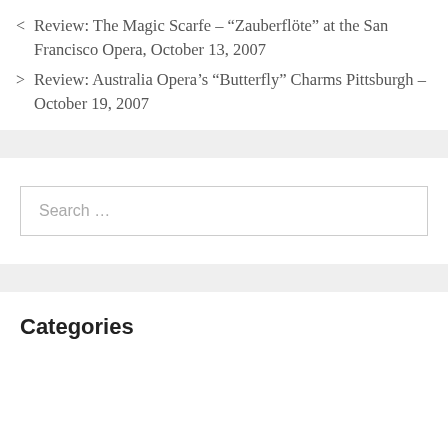< Review: The Magic Scarfe – “Zauberflöte” at the San Francisco Opera, October 13, 2007
> Review: Australia Opera’s “Butterfly” Charms Pittsburgh – October 19, 2007
Search ...
Categories